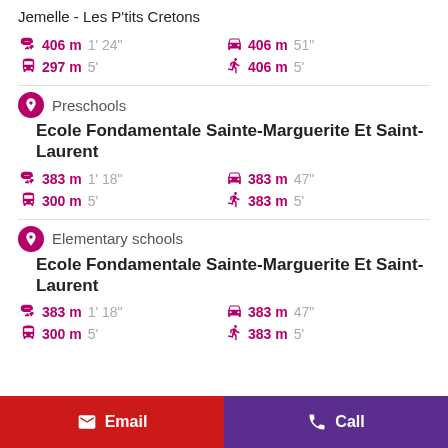Jemelle - Les P'tits Cretons
406 m 1' 24"  406 m 51"  297 m 5'  406 m 5'
Preschools
Ecole Fondamentale Sainte-Marguerite Et Saint-Laurent
383 m 1' 18"  383 m 47"  300 m 5'  383 m 5'
Elementary schools
Ecole Fondamentale Sainte-Marguerite Et Saint-Laurent
383 m 1' 18"  383 m 47"  300 m 5'  383 m 5'
Email  Call